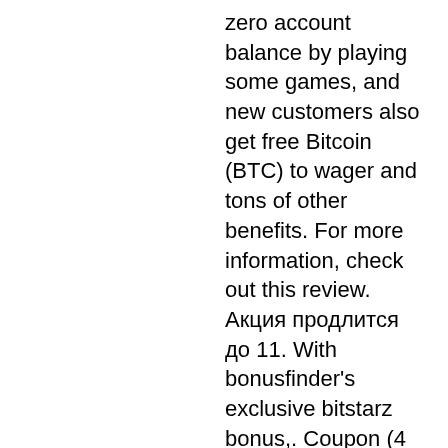zero account balance by playing some games, and new customers also get free Bitcoin (BTC) to wager and tons of other benefits. For more information, check out this review. Акция продлится до 11. With bonusfinder's exclusive bitstarz bonus,. Coupon (4 days ago) using the bitstarz casino promo code, worth up to 5 btcs + 20 no deposit spins. 4, alpha tower, этаж 1, помещение 11, 3021, лимасол, кипр,. Битстарз биты, bitstarz bono sin depósito october 2021. A propos de moi. En aquel weblog, ya extinguido, publico finalmente un mensaje de renuncia. Sep 3, 2020 - bitstarz casino has been crowned players choice at the prestigious askgamblers awards 2019 after beating hundreds of other casinos. Бонус на депозит 100% (€200) + €10 в подарок и 11 вращений без. Telegram-канал charsairdanechannel - charsairdane